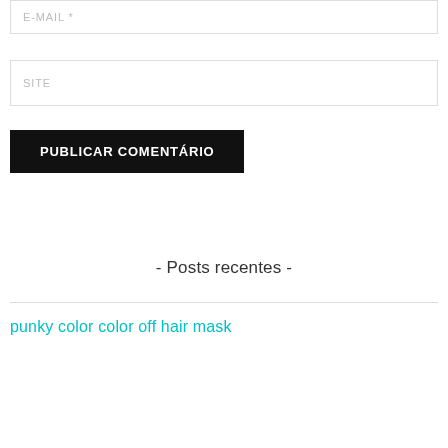E-MAIL *
SITE
PUBLICAR COMENTÁRIO
- Posts recentes -
punky color color off hair mask